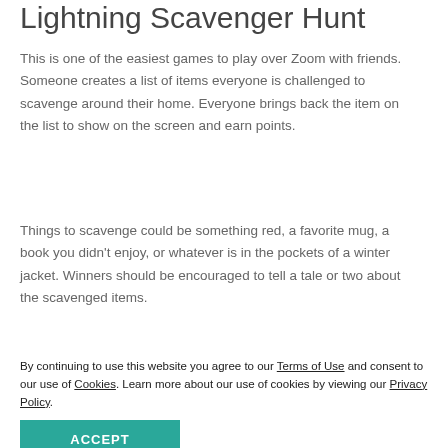Lightning Scavenger Hunt
This is one of the easiest games to play over Zoom with friends. Someone creates a list of items everyone is challenged to scavenge around their home. Everyone brings back the item on the list to show on the screen and earn points.
Things to scavenge could be something red, a favorite mug, a book you didn’t enjoy, or whatever is in the pockets of a winter jacket. Winners should be encouraged to tell a tale or two about the scavenged items.
Trivia Night
By continuing to use this website you agree to our Terms of Use and consent to our use of Cookies. Learn more about our use of cookies by viewing our Privacy Policy.
ACCEPT
This fun game tests your knowledge on a variety of random topics. Compile a list of trivia questions and use the breakout room feature in Zoom to split everyone into teams. Pose a question and send the teams to their breakout rooms. The first ones to return with the correct answers win a point.